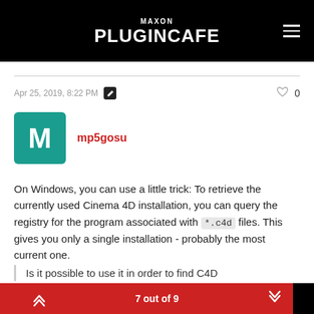MAXON PLUGINCAFE
Apr 25, 2019, 8:22 PM
mp5gosu
On Windows, you can use a little trick: To retrieve the currently used Cinema 4D installation, you can query the registry for the program associated with *.c4d files. This gives you only a single installation - probably the most current one.
Is it possible to use it in order to find C4D
7 out of 9